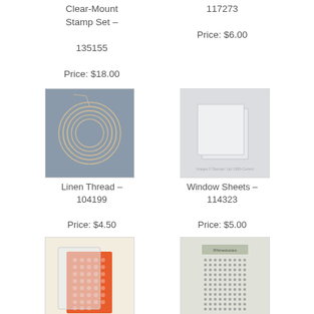Clear-Mount Stamp Set – 135155
Price: $18.00
117273
Price: $6.00
[Figure (photo): Linen thread coiled in a circle on a gray background]
Linen Thread – 104199
Price: $4.50
[Figure (photo): Clear window sheets stacked, with Stampin Up watermark]
Window Sheets – 114323
Price: $5.00
[Figure (photo): Embossing folder with orange embossed sheet on cream background]
[Figure (photo): Sheet of rhinestone dots with Stampin Up watermark]